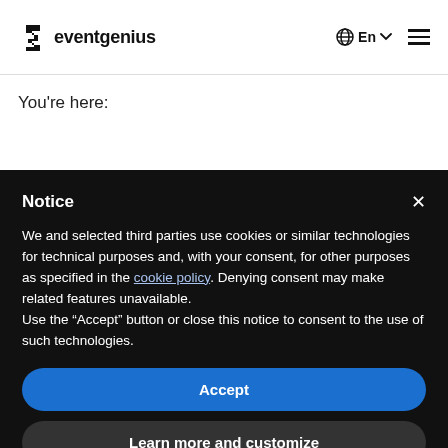[Figure (logo): Eventgenius logo with stylized E icon and wordmark 'eventgenius']
You're here:
Notice
We and selected third parties use cookies or similar technologies for technical purposes and, with your consent, for other purposes as specified in the cookie policy. Denying consent may make related features unavailable.
Use the "Accept" button or close this notice to consent to the use of such technologies.
Accept
Learn more and customize